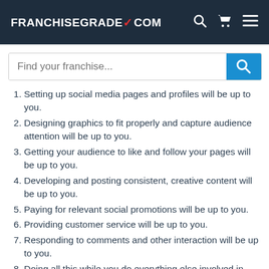FRANCHISEGRADE✓COM
Setting up social media pages and profiles will be up to you.
Designing graphics to fit properly and capture audience attention will be up to you.
Getting your audience to like and follow your pages will be up to you.
Developing and posting consistent, creative content will be up to you.
Paying for relevant social promotions will be up to you.
Providing customer service will be up to you.
Responding to comments and other interaction will be up to you.
Doing all this while you do everything else involved in running and growing your franchise will be up to you.
And if you don't do it, your audience may not find